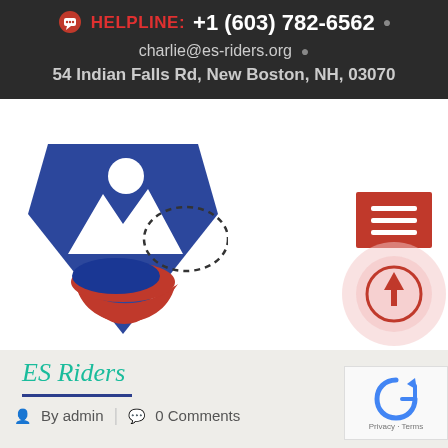HELPLINE: +1 (603) 782-6562 | charlie@es-riders.org | 54 Indian Falls Rd, New Boston, NH, 03070
[Figure (logo): ES Riders organization logo with blue mountain/figure graphic and red crescent, plus dashed speech bubble outline]
[Figure (other): Red hamburger menu button with three white horizontal lines]
[Figure (other): Back to top circular button with upward arrow, red ring on light pink background]
ES Riders
By admin | 0 Comments
[Figure (other): Google reCAPTCHA widget with circular arrow icon, Privacy and Terms text]